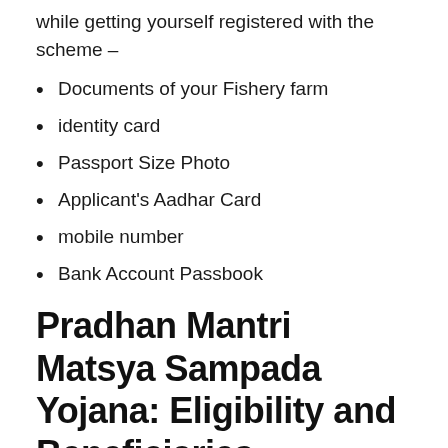while getting yourself registered with the scheme –
Documents of your Fishery farm
identity card
Passport Size Photo
Applicant's Aadhar Card
mobile number
Bank Account Passbook
Pradhan Mantri Matsya Sampada Yojana: Eligibility and Beneficiaries
The Scheme is announced by the Minister of Finance for the general of fish...